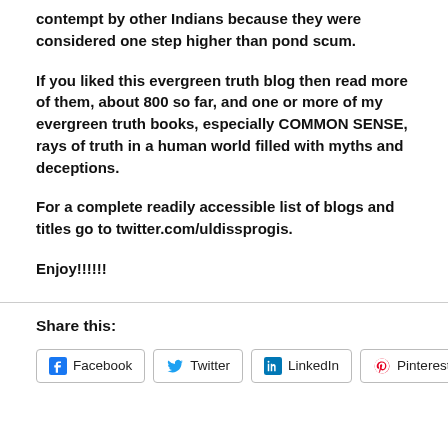contempt by other Indians because they were considered one step higher than pond scum.
If you liked this evergreen truth blog then read more of them, about 800 so far, and one or more of my evergreen truth books, especially COMMON SENSE, rays of truth in a human world filled with myths and deceptions.
For a complete readily accessible list of blogs and titles go to twitter.com/uldissprogis.
Enjoy!!!!!!
Share this:
Facebook  Twitter  LinkedIn  Pinterest  More